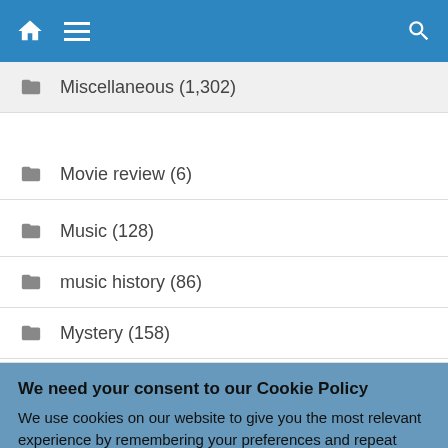Navigation bar with home, menu, and search icons
Miscellaneous (1,302)
Movie review (6)
Music (128)
music history (86)
Mystery (158)
We need your consent to our Cookie Policy
We use cookies on our website to give you the most relevant experience by remembering your preferences and repeat visits. By clicking “Accept”, you consent to the use of ALL the cookies.
Do not sell my personal information.
Cookie Settings | Accept